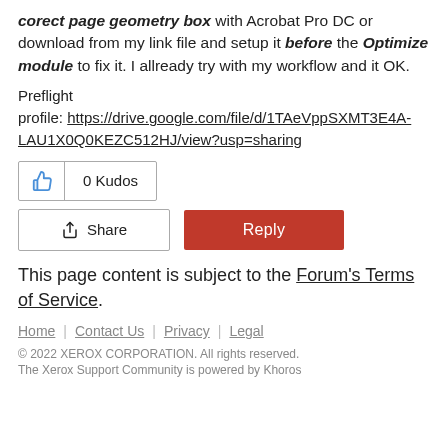corect page geometry box with Acrobat Pro DC or download from my link file and setup it before the Optimize module to fix it. I allready try with my workflow and it OK.
Preflight profile: https://drive.google.com/file/d/1TAeVppSXMT3E4A-LAU1X0Q0KEZC512HJ/view?usp=sharing
[Figure (other): Kudos button with thumbs-up icon showing 0 Kudos]
[Figure (other): Share button and Reply button]
This page content is subject to the Forum's Terms of Service.
Home | Contact Us | Privacy | Legal
© 2022 XEROX CORPORATION. All rights reserved.
The Xerox Support Community is powered by Khoros